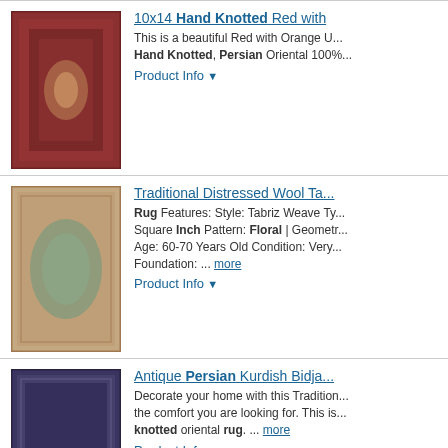10x14 Hand Knotted Red with... This is a beautiful Red with Orange U... Hand Knotted, Persian Oriental 100%... Product Info
Traditional Distressed Wool Ta... Rug Features: Style: Tabriz Weave Ty... Square Inch Pattern: Floral | Geometr... Age: 60-70 Years Old Condition: Very... Foundation: ... more. Product Info
Antique Persian Kurdish Bidja... Decorate your home with this Tradition... the comfort you are looking for. This is... knotted oriental rug. ... more. Product Info
Antique Isfahan Floral Hand K... This is a pre-1900 hand knotted genu... which is in very good (100% vegetable... Product Info
Oriental Antique Tabriz Traditio... Enjoy the uniqueness of this authentic... genuine Persia made area rug. Made...